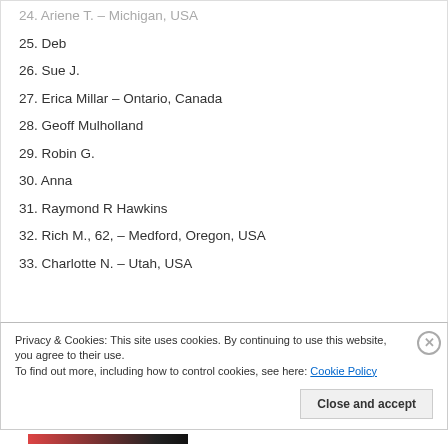24. Ariene T. – Michigan, USA
25. Deb
26. Sue J.
27. Erica Millar – Ontario, Canada
28. Geoff Mulholland
29. Robin G.
30. Anna
31. Raymond R Hawkins
32. Rich M., 62, – Medford, Oregon, USA
33. Charlotte N. – Utah, USA
Privacy & Cookies: This site uses cookies. By continuing to use this website, you agree to their use. To find out more, including how to control cookies, see here: Cookie Policy
Close and accept